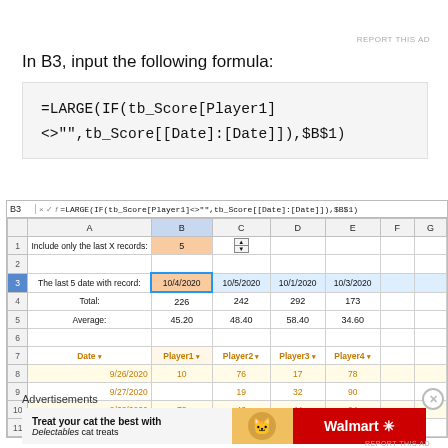In B3, input the following formula:
[Figure (screenshot): Excel spreadsheet showing formula bar with =LARGE(IF(tb_Score[Player1]<>"",tb_Score[[Date]:[Date]]),$B$1) and a table with Date, Player1, Player2, Player3, Player4 columns with data from 9/26/2020 to 9/29/2020, and summary rows showing last 5 dates, totals and averages.]
Advertisements
[Figure (photo): Walmart advertisement: Treat your cat the best with Delectables cat treats]